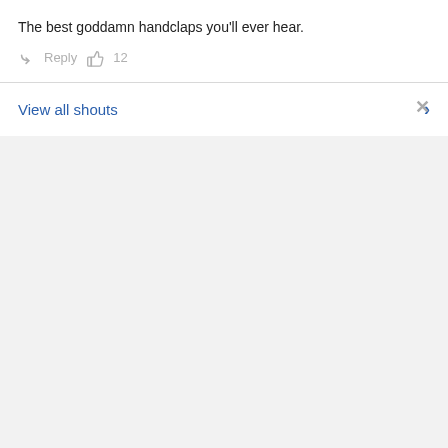The best goddamn handclaps you'll ever hear.
↳ Reply 👍 12
View all shouts